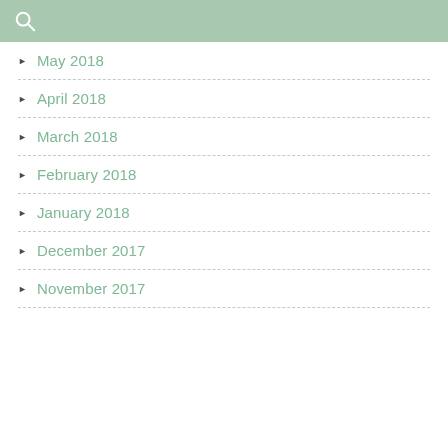Search
May 2018
April 2018
March 2018
February 2018
January 2018
December 2017
November 2017